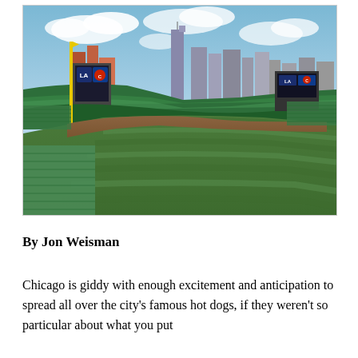[Figure (photo): Aerial view of Wrigley Field baseball stadium in Chicago, showing the outfield, green bleachers, scoreboard with LA Dodgers vs Chicago Cubs logos, and the Chicago city skyline in the background under a partly cloudy sky.]
By Jon Weisman
Chicago is giddy with enough excitement and anticipation to spread all over the city's famous hot dogs, if they weren't so particular about what you put